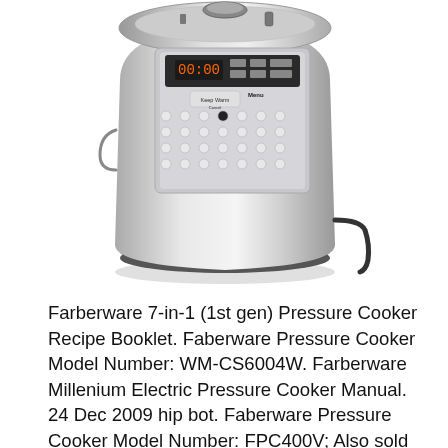[Figure (photo): A stainless steel electric pressure cooker (Farberware 7-in-1) with a digital display panel and control buttons on the front, viewed from slightly above and to the side. The cooker has a black base and a power cord visible on the right side.]
Farberware 7-in-1 (1st gen) Pressure Cooker Recipe Booklet. Faberware Pressure Cooker Model Number: WM-CS6004W. Farberware Millenium Electric Pressure Cooker Manual. 24 Dec 2009 hip bot. Faberware Pressure Cooker Model Number: FPC400V; Also sold as Salton Nutritionist Pressure cooker Model Number NPCC 400. Download Manufacturer Website: Lifetime Brands. Farberware Quick Cuisine Pressure